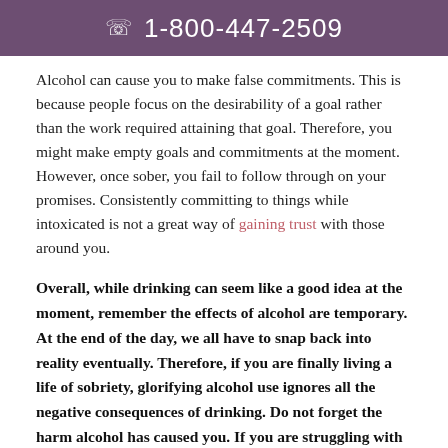1-800-447-2509
Alcohol can cause you to make false commitments. This is because people focus on the desirability of a goal rather than the work required attaining that goal. Therefore, you might make empty goals and commitments at the moment. However, once sober, you fail to follow through on your promises. Consistently committing to things while intoxicated is not a great way of gaining trust with those around you.
Overall, while drinking can seem like a good idea at the moment, remember the effects of alcohol are temporary. At the end of the day, we all have to snap back into reality eventually. Therefore, if you are finally living a life of sobriety, glorifying alcohol use ignores all the negative consequences of drinking. Do not forget the harm alcohol has caused you. If you are struggling with addiction, remember we are here to help. If you or someone you love is